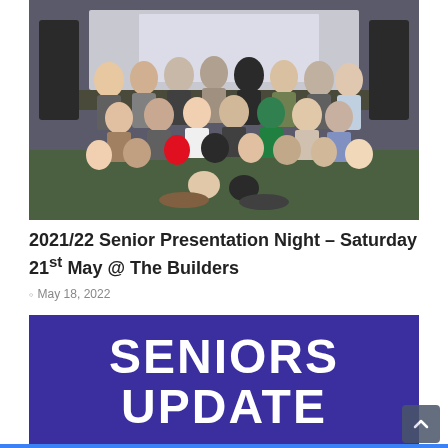[Figure (photo): Group photo of approximately 40 men (sports club members/seniors) posing together indoors in a hall or meeting room, with a projection screen visible in the background.]
2021/22 Senior Presentation Night – Saturday 21st May @ The Builders
May 18, 2022
[Figure (infographic): Dark purple/indigo banner with large bold white text reading 'SENIORS UPDATE']